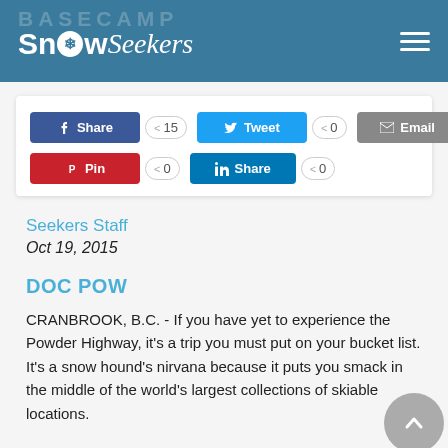SnowSeekers — BASECAMP
[Figure (screenshot): Social sharing buttons: Facebook Share (15), Tweet (0), Email (0), Pin (0), LinkedIn Share (0)]
Seekers Staff
Oct 19, 2015
DOC POW
CRANBROOK, B.C. - If you have yet to experience the Powder Highway, it's a trip you must put on your bucket list. It's a snow hound's nirvana because it puts you smack in the middle of the world's largest collections of skiable locations.